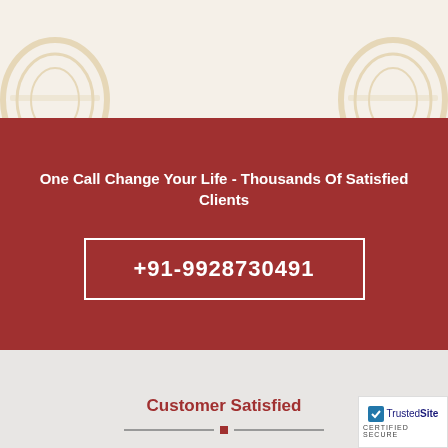[Figure (illustration): Decorative background with faint beige/gold ornamental arch motifs on left and right side]
One Call Change Your Life - Thousands Of Satisfied Clients
+91-9928730491
Customer Satisfied
[Figure (logo): TrustedSite Certified Secure badge in bottom right corner]